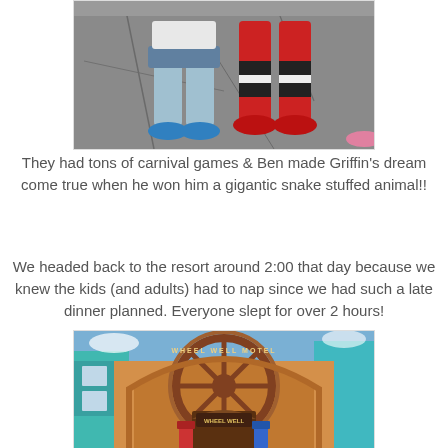[Figure (photo): Photo showing legs of a child in blue sneakers next to cartoon character legs in red and black striped costume, standing on asphalt pavement.]
They had tons of carnival games & Ben made Griffin's dream come true when he won him a gigantic snake stuffed animal!!
We headed back to the resort around 2:00 that day because we knew the kids (and adults) had to nap since we had such a late dinner planned. Everyone slept for over 2 hours!
[Figure (photo): Photo showing the entrance arch of the Wheel Well Motel, a Cars-themed building at a Disney resort, with a large wagon wheel arch and gas pumps visible below.]